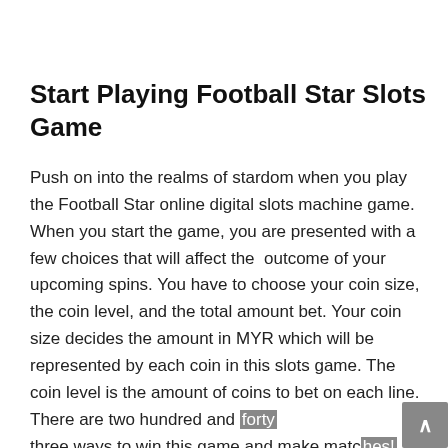Start Playing Football Star Slots Game
Push on into the realms of stardom when you play the Football Star online digital slots machine game. When you start the game, you are presented with a few choices that will affect the outcome of your upcoming spins. You have to choose your coin size, the coin level, and the total amount bet. Your coin size decides the amount in MYR which will be represented by each coin in this slots game. The coin level is the amount of coins to bet on each line. There are two hundred and forty three ways to win this game and make matches! Or you can skip the above and simply choose your